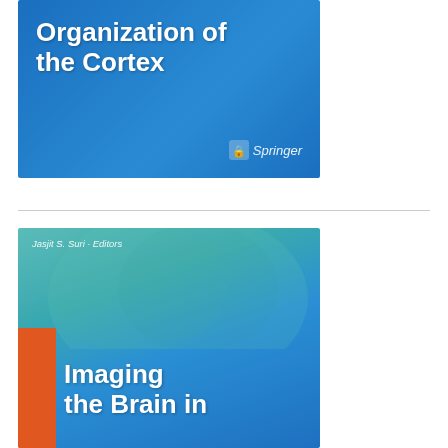[Figure (illustration): Book cover: 'Organization of the Cortex' published by Springer, blue background with bold white title text and Springer logo in bottom right]
[Figure (illustration): Book cover: 'Imaging the Brain in...' edited by Jasjit S. Suri, teal and blue background with brain imagery overlay, orange bar on left side, bold white title text]